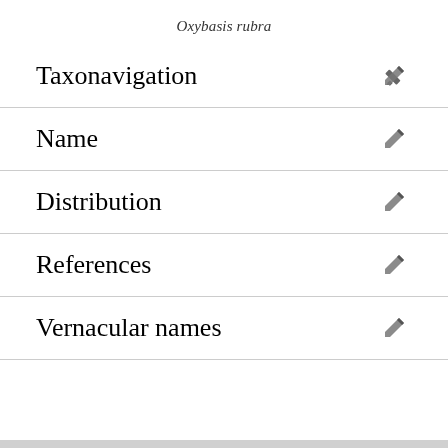Oxybasis rubra
Taxonavigation
Name
Distribution
References
Vernacular names